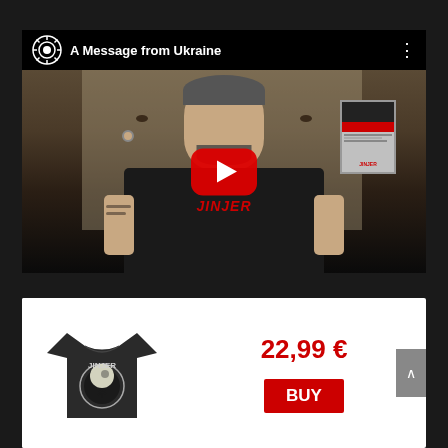[Figure (screenshot): YouTube video thumbnail titled 'A Message from Ukraine' showing a man wearing a black JINJER band t-shirt sitting in front of a wall with a magazine frame visible on the right. A red YouTube play button is centered on the video.]
[Figure (screenshot): E-commerce product card showing a black JINJER t-shirt with a moon/tree design, priced at 22,99 € with a red BUY button.]